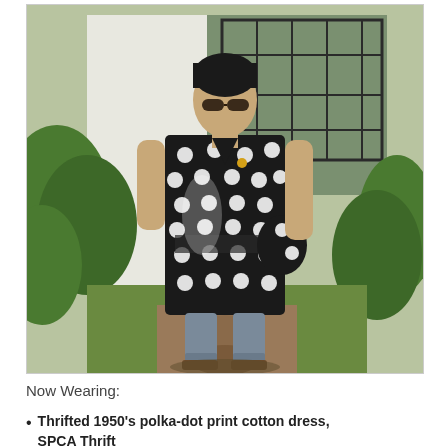[Figure (photo): A person standing outdoors in a garden path wearing a black and white polka-dot wrap dress over gray cropped jeans and sandals, with sunglasses and short dark hair. Background shows green shrubs, trees, and a building with a decorative iron gate.]
Now Wearing:
Thrifted 1950's polka-dot print cotton dress, SPCA Thrift